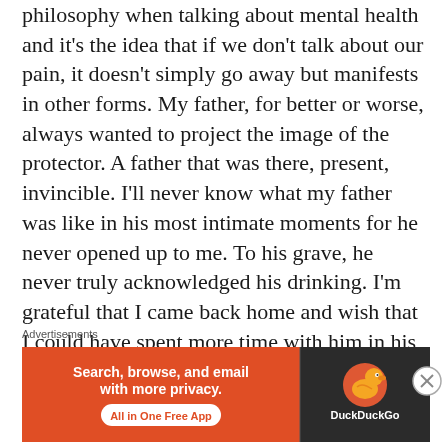philosophy when talking about mental health and it's the idea that if we don't talk about our pain, it doesn't simply go away but manifests in other forms. My father, for better or worse, always wanted to project the image of the protector. A father that was there, present, invincible. I'll never know what my father was like in his most intimate moments for he never opened up to me. To his grave, he never truly acknowledged his drinking. I'm grateful that I came back home and wish that I could have spent more time with him in his final year rather than being so angry after he relapsed. I'm grateful I got to have one final conversation with him, however brief, before he became too
Advertisements
[Figure (screenshot): DuckDuckGo advertisement banner: orange background with text 'Search, browse, and email with more privacy. All in One Free App' on the left, and dark panel with DuckDuckGo duck logo and 'DuckDuckGo' text on the right.]